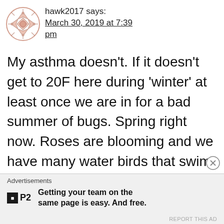[Figure (illustration): Circular avatar icon with a decorative geometric pattern in light salmon/pink color]
hawk2017 says:
March 30, 2019 at 7:39 pm
My asthma doesn’t. If it doesn’t get to 20F here during ‘winter’ at least once we are in for a bad summer of bugs. Spring right now. Roses are blooming and we have many water birds that swim in our bayous. Moss hangs from Oaks but pollen
Advertisements
Getting your team on the same page is easy. And free.